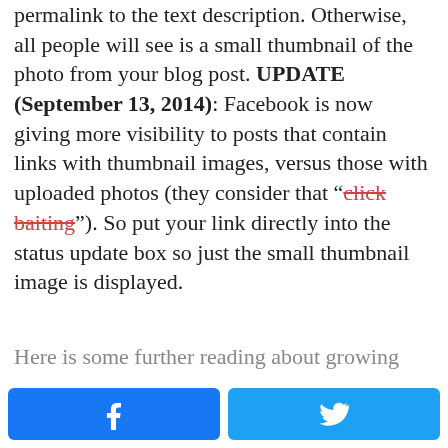permalink to the text description. Otherwise, all people will see is a small thumbnail of the photo from your blog post. UPDATE (September 13, 2014): Facebook is now giving more visibility to posts that contain links with thumbnail images, versus those with uploaded photos (they consider that "click baiting"). So put your link directly into the status update box so just the small thumbnail image is displayed.
Here is some further reading about growing
[Figure (other): Facebook share button (blue) and Twitter share button (light blue) social media buttons at the bottom of the page]